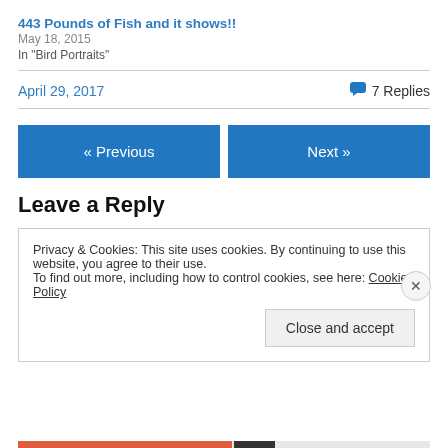443 Pounds of Fish and it shows!!
May 18, 2015
In "Bird Portraits"
April 29, 2017   7 Replies
« Previous
Next »
Leave a Reply
Privacy & Cookies: This site uses cookies. By continuing to use this website, you agree to their use.
To find out more, including how to control cookies, see here: Cookie Policy
Close and accept